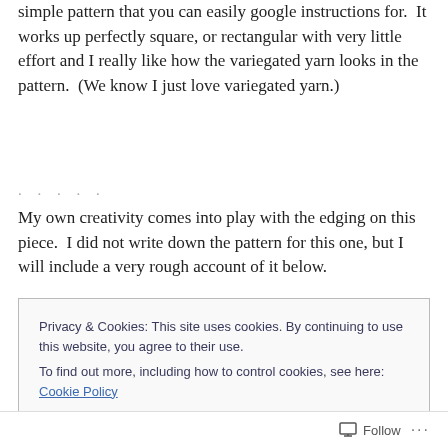simple pattern that you can easily google instructions for.  It works up perfectly square, or rectangular with very little effort and I really like how the variegated yarn looks in the pattern.  (We know I just love variegated yarn.)
My own creativity comes into play with the edging on this piece.  I did not write down the pattern for this one, but I will include a very rough account of it below.
Privacy & Cookies: This site uses cookies. By continuing to use this website, you agree to their use.
To find out more, including how to control cookies, see here: Cookie Policy
Close and accept
Follow